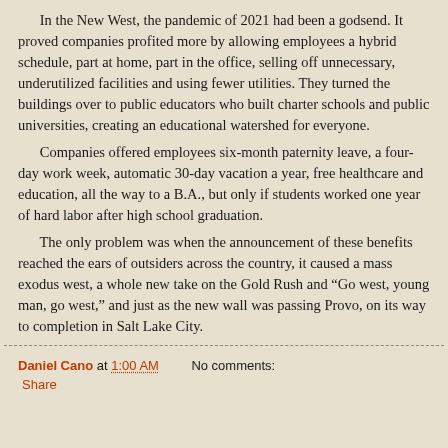In the New West, the pandemic of 2021 had been a godsend. It proved companies profited more by allowing employees a hybrid schedule, part at home, part in the office, selling off unnecessary, underutilized facilities and using fewer utilities. They turned the buildings over to public educators who built charter schools and public universities, creating an educational watershed for everyone.
Companies offered employees six-month paternity leave, a four-day work week, automatic 30-day vacation a year, free healthcare and education, all the way to a B.A., but only if students worked one year of hard labor after high school graduation.
The only problem was when the announcement of these benefits reached the ears of outsiders across the country, it caused a mass exodus west, a whole new take on the Gold Rush and “Go west, young man, go west,” and just as the new wall was passing Provo, on its way to completion in Salt Lake City.
Daniel Cano at 1:00 AM    No comments:   Share